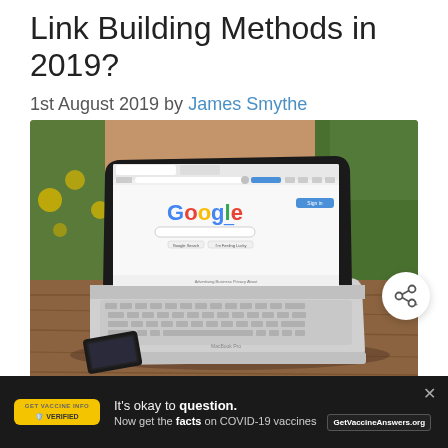Link Building Methods in 2019?
1st August 2019 by James Smythe
[Figure (photo): A MacBook Pro laptop open to the Google homepage, sitting on a wooden table outdoors. A smartphone is visible in the lower left corner. Background shows blurred greenery and warm outdoor tones.]
It's okay to question. Now get the facts on COVID-19 vaccines GetVaccineAnswers.org